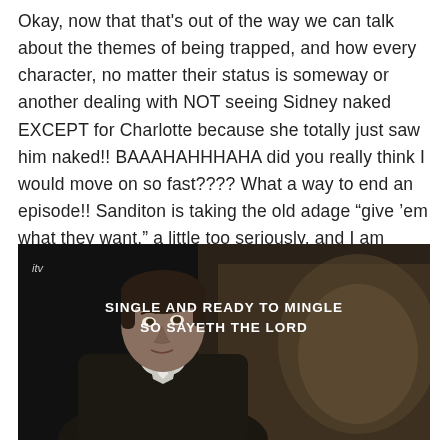Okay, now that that's out of the way we can talk about the themes of being trapped, and how every character, no matter their status is someway or another dealing with NOT seeing Sidney naked EXCEPT for Charlotte because she totally just saw him naked!! BAAAHAHHHAHA did you really think I would move on so fast???? What a way to end an episode!! Sanditon is taking the old adage “give ’em what they want,” a little too seriously, and I am HERE FOR IT.
[Figure (screenshot): Screenshot from ITV TV show showing a man in period costume (clergyman or similar) looking upward. Overlaid subtitle text reads 'SINGLE AND READY TO MINGLE SO SAYETH THE LORD' in bold white capital letters. ITV watermark in top-left corner.]